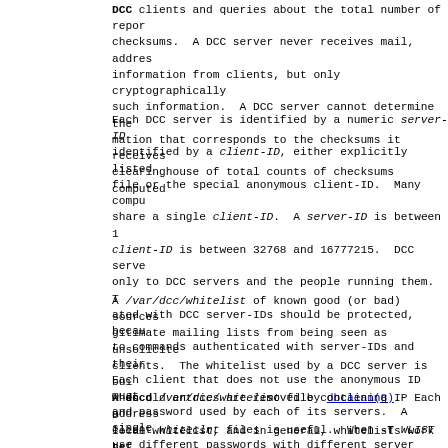clients and queries about the total number of report checksums. A DCC server never receives mail, address information from clients, but only cryptographically such information. A DCC server cannot determine the mation that corresponds to the checksums it receives clearinghouse of total counts of checksums computed
Each DCC server is identified by a numeric server-ID identified by a client-ID, either explicitly listed file or the special anonymous client-ID. Many compu share a single client-ID. A server-ID is between 10 client-ID is between 32768 and 16777215. DCC serve only to DCC servers and the people running them. T ated with DCC server-IDs should be protected, becau to commands authenticated with server-IDs and their Each client that does not use the anonymous ID must and password used by each of its servers. A single use different passwords with different server comput /var/dcc/ids file.
A /var/dcc/whitelist of known good (or bad) sources gitimate mailing lists from being seen as unsolicite clients. The whitelist used by a DCC server is bui when old entries are removed by dbclean(8). Each D local whitelist, and in general, whitelists work be than servers.
A dccd /var/dcc/whitelist file containing IP address client whiteclnt files is useful. When -T WLIST tr it is by default), dccd complains to the system lo